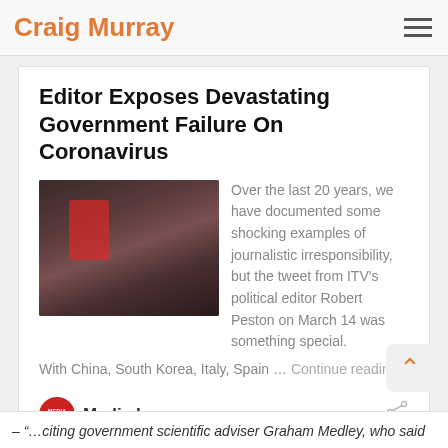Craig Murray
Editor Exposes Devastating Government Failure On Coronavirus
[Figure (photo): A crowd of people in a public space, dark and densely packed]
Over the last 20 years, we have documented some shocking examples of journalistic irresponsibility, but the tweet from ITV’s political editor Robert Peston on March 14 was something special. With China, South Korea, Italy, Spain … Continue reading
Media Lens
– “…citing government scientific adviser Graham Medley, who said